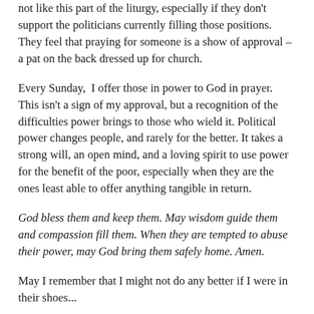not like this part of the liturgy, especially if they don't support the politicians currently filling those positions. They feel that praying for someone is a show of approval – a pat on the back dressed up for church.
Every Sunday,  I offer those in power to God in prayer. This isn't a sign of my approval, but a recognition of the difficulties power brings to those who wield it. Political power changes people, and rarely for the better. It takes a strong will, an open mind, and a loving spirit to use power for the benefit of the poor, especially when they are the ones least able to offer anything tangible in return.
God bless them and keep them. May wisdom guide them and compassion fill them. When they are tempted to abuse their power, may God bring them safely home. Amen.
May I remember that I might not do any better if I were in their shoes...